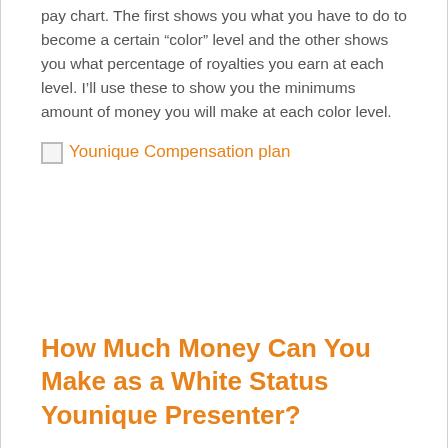pay chart. The first shows you what you have to do to become a certain “color” level and the other shows you what percentage of royalties you earn at each level. I’ll use these to show you the minimums amount of money you will make at each color level.
[Figure (other): Younique Compensation plan image (broken/unloaded image placeholder)]
How Much Money Can You Make as a White Status Younique Presenter?